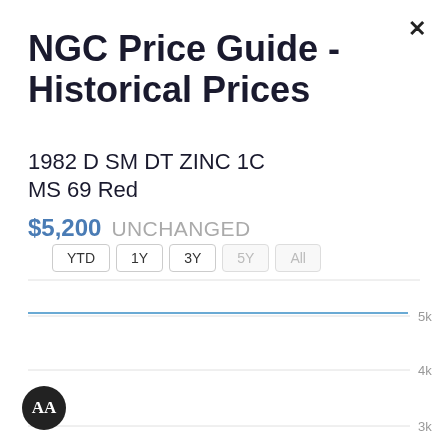NGC Price Guide - Historical Prices
1982 D SM DT ZINC 1C MS 69 Red
$5,200 UNCHANGED
[Figure (line-chart): Line chart showing historical price of 1982 D SM DT ZINC 1C MS 69 Red. A horizontal blue line at approximately 5k value across the time period shown. Y-axis labels show 5k, 4k, 3k.]